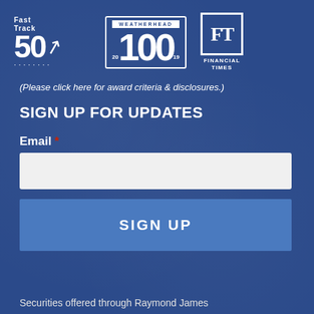[Figure (logo): Fast Track 50 logo — white text on dark blue background showing 'Fast Track' above '50' with upward arrow and dotted underline]
[Figure (logo): Weatherhead 100 logo — '100' in large bold white text with 'WEATHERHEAD' banner and years '20' and '19' on sides, bordered rectangle]
[Figure (logo): Financial Times FT logo — white 'FT' in bordered square box with 'FINANCIAL TIMES' text below]
(Please click here for award criteria & disclosures.)
SIGN UP FOR UPDATES
Email *
SIGN UP
Securities offered through Raymond James